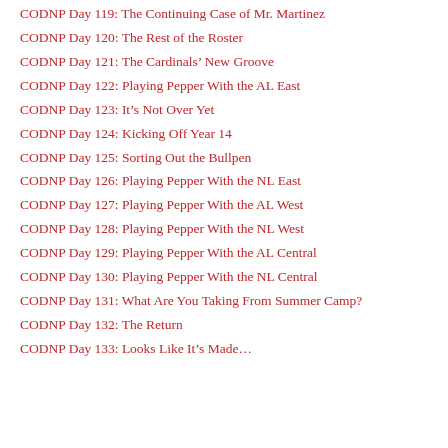CODNP Day 119: The Continuing Case of Mr. Martinez
CODNP Day 120: The Rest of the Roster
CODNP Day 121: The Cardinals’ New Groove
CODNP Day 122: Playing Pepper With the AL East
CODNP Day 123: It’s Not Over Yet
CODNP Day 124: Kicking Off Year 14
CODNP Day 125: Sorting Out the Bullpen
CODNP Day 126: Playing Pepper With the NL East
CODNP Day 127: Playing Pepper With the AL West
CODNP Day 128: Playing Pepper With the NL West
CODNP Day 129: Playing Pepper With the AL Central
CODNP Day 130: Playing Pepper With the NL Central
CODNP Day 131: What Are You Taking From Summer Camp?
CODNP Day 132: The Return
CODNP Day 133: Looks Like It’s Made…